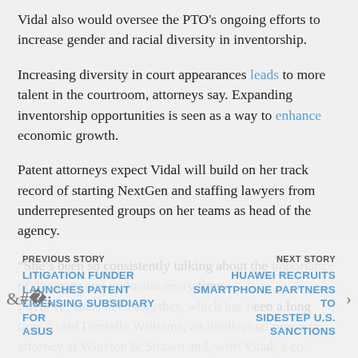Vidal also would oversee the PTO's ongoing efforts to increase gender and racial diversity in inventorship.
Increasing diversity in court appearances leads to more talent in the courtroom, attorneys say. Expanding inventorship opportunities is seen as a way to enhance economic growth.
Patent attorneys expect Vidal will build on her track record of starting NextGen and staffing lawyers from underrepresented groups on her teams as head of the agency.
“She’s been so consistently talking about the importance of diversity and inclusion every time, I believe, she’s been together, which has been a long time,” said Danielle Williams, an intellectual property attorney at Winston & Strawn and, with Vidal, a co-leader of NextGen. “It’s not just about talking about
PREVIOUS STORY
LITIGATION FUNDER LAUNCHES PATENT LICENSING SUBSIDIARY FOR ASUS
NEXT STORY
HUAWEI RECRUITS SMARTPHONE PARTNERS TO SIDESTEP U.S. SANCTIONS